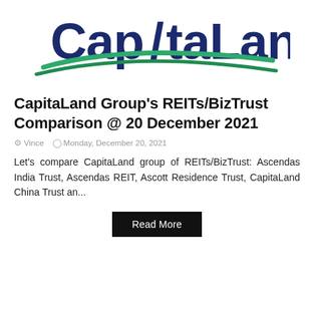[Figure (logo): CapitaLand logo — dark blue text 'CapitaLand' with a green swoosh arc beneath it]
CapitaLand Group's REITs/BizTrust Comparison @ 20 December 2021
Vince   Monday, December 20, 2021
Let's compare CapitaLand group of REITs/BizTrust: Ascendas India Trust, Ascendas REIT, Ascott Residence Trust, CapitaLand China Trust an...
Read More